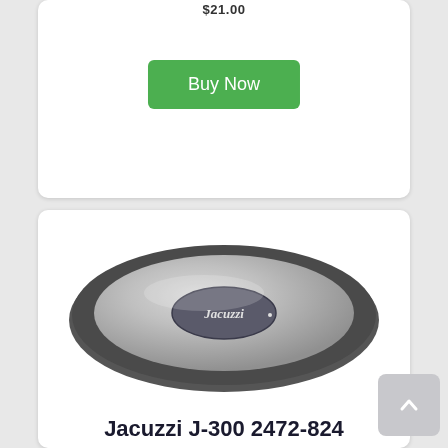$21.00
[Figure (other): Green 'Buy Now' button]
[Figure (photo): Jacuzzi oval jet face plate product — silver and dark gray elliptical spa jet cover with Jacuzzi logo in center]
Jacuzzi J-300 2472-824